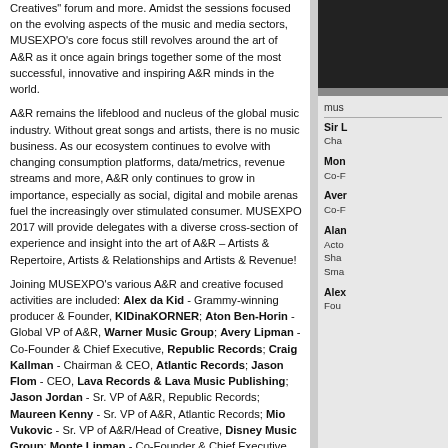Creatives" forum and more. Amidst the sessions focused on the evolving aspects of the music and media sectors, MUSEXPO's core focus still revolves around the art of A&R as it once again brings together some of the most successful, innovative and inspiring A&R minds in the world.
A&R remains the lifeblood and nucleus of the global music industry. Without great songs and artists, there is no music business. As our ecosystem continues to evolve with changing consumption platforms, data/metrics, revenue streams and more, A&R only continues to grow in importance, especially as social, digital and mobile arenas fuel the increasingly over stimulated consumer. MUSEXPO 2017 will provide delegates with a diverse cross-section of experience and insight into the art of A&R – Artists & Repertoire, Artists & Relationships and Artists & Revenue!
Joining MUSEXPO's various A&R and creative focused activities are included: Alex da Kid - Grammy-winning producer & Founder, KIDinaKORNER; Aton Ben-Horin - Global VP of A&R, Warner Music Group; Avery Lipman - Co-Founder & Chief Executive, Republic Records; Craig Kallman - Chairman & CEO, Atlantic Records; Jason Flom - CEO, Lava Records & Lava Music Publishing; Jason Jordan - Sr. VP of A&R, Republic Records; Maureen Kenny - Sr. VP of A&R, Atlantic Records; Mio Vukovic - Sr. VP of A&R/Head of Creative, Disney Music Group; Monte Lipman - Co-Founder & Chief Executive, Republic Records; Pete Ganbarg - Head Of A&R, Atlantic Records Group; Robin
[Figure (photo): Black box image in right column]
mus
Sir L... Cha...
Mon... Co-F...
Aver... Co-F...
Alan... Acto... Sha... Sma...
Alex... Fou...